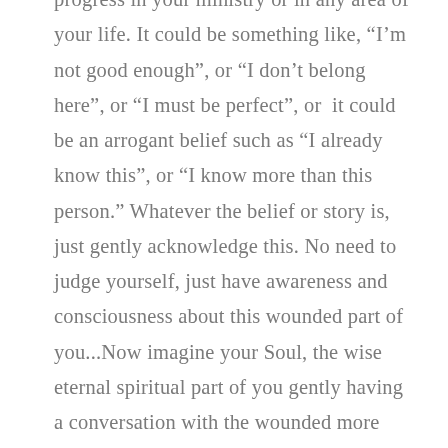progress in your ministry or in any area of your life. It could be something like, “I’m not good enough”, or “I don’t belong here”, or “I must be perfect”, or  it could be an arrogant belief such as “I already know this”, or “I know more than this person.” Whatever the belief or story is, just gently acknowledge this. No need to judge yourself, just have awareness and consciousness about this wounded part of you...Now imagine your Soul, the wise eternal spiritual part of you gently having a conversation with the wounded more limited part of your ego. What wisdom and/or